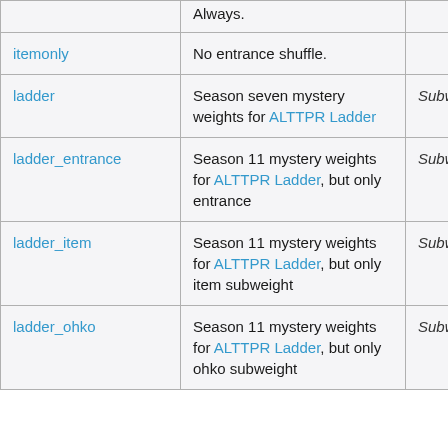|  |  |  |
| --- | --- | --- |
|  | Always. |  |
| itemonly | No entrance shuffle. |  |
| ladder | Season seven mystery weights for ALTTPR Ladder | Subweights |
| ladder_entrance | Season 11 mystery weights for ALTTPR Ladder, but only entrance | Subweights |
| ladder_item | Season 11 mystery weights for ALTTPR Ladder, but only item subweight | Subweights |
| ladder_ohko | Season 11 mystery weights for ALTTPR Ladder, but only ohko subweight | Subweights |